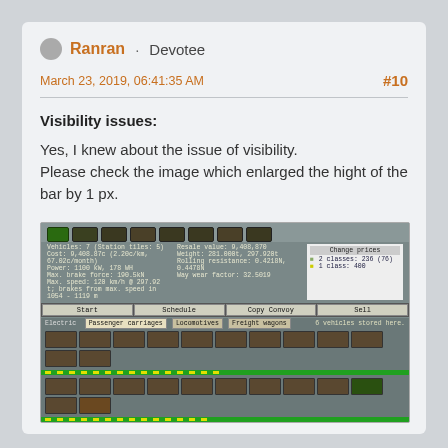Ranran · Devotee
March 23, 2019, 06:41:35 AM
Visibility issues:
Yes, I knew about the issue of visibility.
Please check the image which enlarged the hight of the bar by 1 px.
[Figure (screenshot): Game screenshot showing a train convoy management UI with vehicle list, stats, and wagon selection panels]